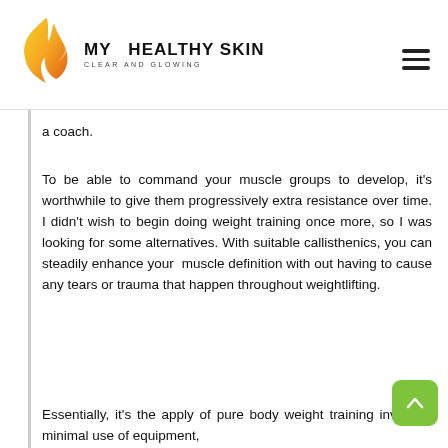MY HEALTHY SKIN - CLEAR AND GLOWING
a coach.
To be able to command your muscle groups to develop, it's worthwhile to give them progressively extra resistance over time. I didn't wish to begin doing weight training once more, so I was looking for some alternatives. With suitable callisthenics, you can steadily enhance your muscle definition with out having to cause any tears or trauma that happen throughout weightlifting.
Essentially, it's the apply of pure body weight training involving minimal use of equipment,